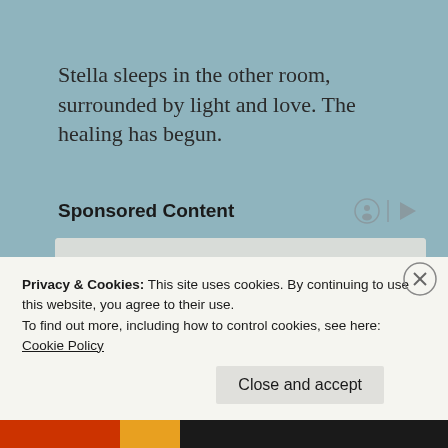Stella sleeps in the other room, surrounded by light and love.  The healing has begun.
Sponsored Content
[Figure (photo): Photo of a blonde woman in a yellow knit sweater looking down, appearing concerned, seated in a living room with plants and neutral decor in the background. This is a sponsored content advertisement image.]
Privacy & Cookies: This site uses cookies. By continuing to use this website, you agree to their use.
To find out more, including how to control cookies, see here: Cookie Policy
Close and accept